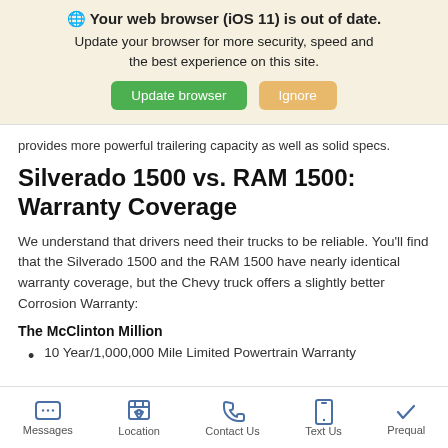🌐 Your web browser (iOS 11) is out of date. Update your browser for more security, speed and the best experience on this site.
provides more powerful trailering capacity as well as solid specs.
Silverado 1500 vs. RAM 1500: Warranty Coverage
We understand that drivers need their trucks to be reliable. You'll find that the Silverado 1500 and the RAM 1500 have nearly identical warranty coverage, but the Chevy truck offers a slightly better Corrosion Warranty:
The McClinton Million
10 Year/1,000,000 Mile Limited Powertrain Warranty
Messages  Location  Contact Us  Text Us  Prequal